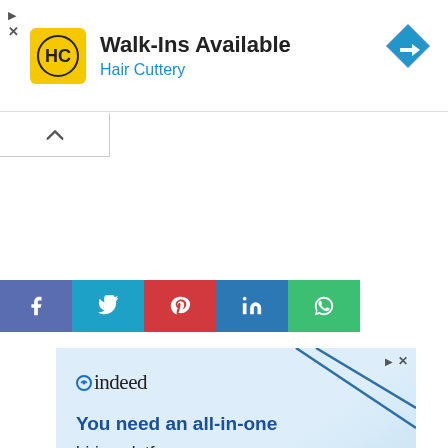[Figure (infographic): Hair Cuttery ad banner: yellow HC logo, 'Walk-Ins Available' title, 'Hair Cuttery' subtitle in blue, directions icon top right, ad controls top left]
[Figure (infographic): Social share bar with Facebook (purple-blue), Twitter (light blue), Pinterest (red), LinkedIn (blue), WhatsApp (green) buttons]
[Figure (infographic): Indeed advertisement with light blue gradient background, Indeed logo, decorative lines, headline 'You need an all-in-one hiring platform. You need Indeed.']